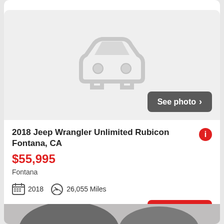[Figure (illustration): Car placeholder silhouette icon on light grey background with 'See photo >' button overlay]
2018 Jeep Wrangler Unlimited Rubicon Fontana, CA
$55,995
Fontana
2018   26,055 Miles
25 days ago
[Figure (photo): Bottom of next car listing photo, partially visible]